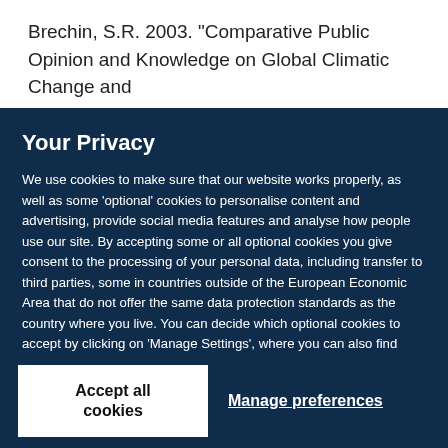Brechin, S.R. 2003. “Comparative Public Opinion and Knowledge on Global Climatic Change and
Your Privacy
We use cookies to make sure that our website works properly, as well as some ‘optional’ cookies to personalise content and advertising, provide social media features and analyse how people use our site. By accepting some or all optional cookies you give consent to the processing of your personal data, including transfer to third parties, some in countries outside of the European Economic Area that do not offer the same data protection standards as the country where you live. You can decide which optional cookies to accept by clicking on ‘Manage Settings’, where you can also find more information about how your personal data is processed. Further information can be found in our privacy policy.
Accept all cookies
Manage preferences